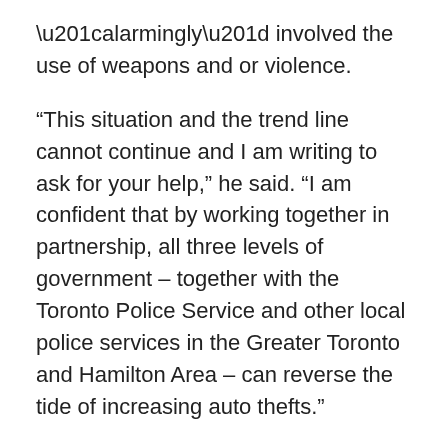“alarmingly” involved the use of weapons and or violence.
“This situation and the trend line cannot continue and I am writing to ask for your help,” he said. “I am confident that by working together in partnership, all three levels of government – together with the Toronto Police Service and other local police services in the Greater Toronto and Hamilton Area – can reverse the tide of increasing auto thefts.”
Tory had several specific asks in his letters.
He reiterated a request city council made of the provincial government in December to create a auto theft task force in partnership with municipalities and said that he would like the